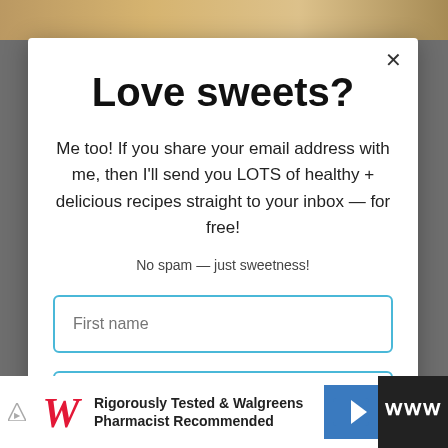[Figure (screenshot): Background photo showing food items, partially visible behind modal overlay]
Love sweets?
Me too! If you share your email address with me, then I'll send you LOTS of healthy + delicious recipes straight to your inbox — for free!
No spam — just sweetness!
[Figure (screenshot): First name input field with blue border]
[Figure (screenshot): Email address input field with blue border]
[Figure (screenshot): Walgreens advertisement bar at bottom: Rigorously Tested & Walgreens Pharmacist Recommended]